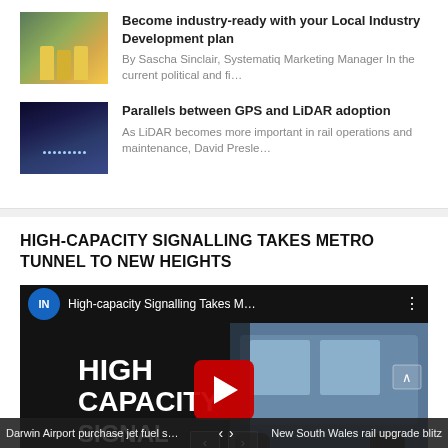[Figure (photo): Thumbnail image of workers in high-visibility vests at a industrial/port facility]
Become industry-ready with your Local Industry Development plan
By Sascha Sinclair, Systematiq Marketing Manager In the current political and fi...
[Figure (photo): Thumbnail image of city lights at night with blue digital overlay]
Parallels between GPS and LiDAR adoption
As LiDAR becomes more important in rail operations and maintenance, David Presle...
HIGH-CAPACITY SIGNALLING TAKES METRO TUNNEL TO NEW HEIGHTS
[Figure (screenshot): YouTube video thumbnail for 'High-capacity Signalling Takes M...' showing a metro train and text overlay with play button]
Darwin Airport purchase jet fuel storage f...   New South Wales rail upgrade blitz